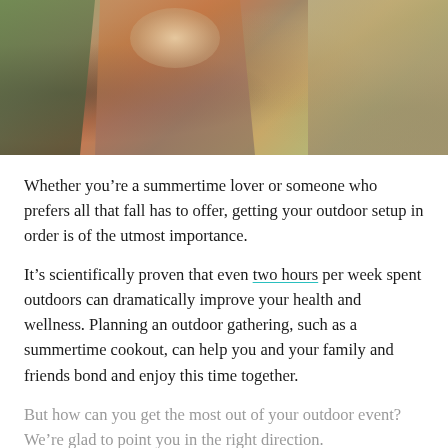[Figure (photo): Outdoor summer gathering with people around a table with food, drinks, and skewers]
Whether you’re a summertime lover or someone who prefers all that fall has to offer, getting your outdoor setup in order is of the utmost importance.
It’s scientifically proven that even two hours per week spent outdoors can dramatically improve your health and wellness. Planning an outdoor gathering, such as a summertime cookout, can help you and your family and friends bond and enjoy this time together.
But how can you get the most out of your outdoor event? We’re glad to point you in the right direction.